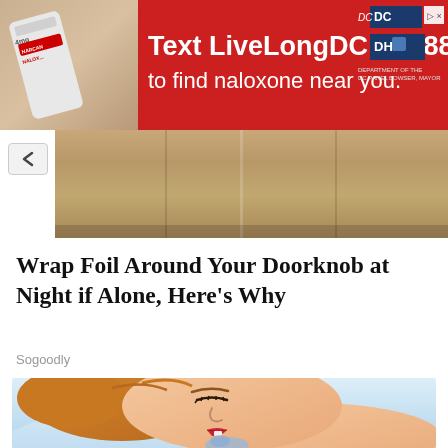[Figure (infographic): Red advertisement banner: Text LiveLongDC to 888-811 to find naloxone near you. DC government logos on right. Photo of naloxone auto-injector on left.]
[Figure (photo): Partial view of elevator or metallic door interior]
Wrap Foil Around Your Doorknob at Night if Alone, Here's Why
Sogoodly
[Figure (illustration): Cartoon/illustration of a woman sleeping on a blue pillow, side profile, with red lips and auburn hair]